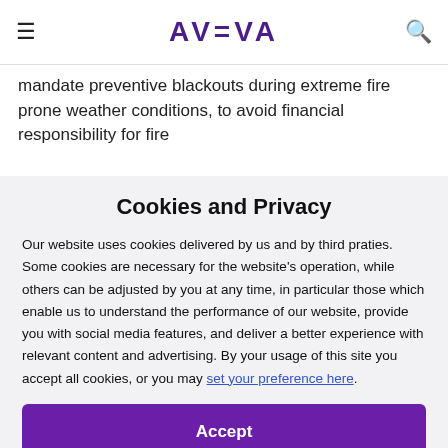AVEVA
mandate preventive blackouts during extreme fire prone weather conditions, to avoid financial responsibility for fire
Cookies and Privacy
Our website uses cookies delivered by us and by third praties. Some cookies are necessary for the website's operation, while others can be adjusted by you at any time, in particular those which enable us to understand the performance of our website, provide you with social media features, and deliver a better experience with relevant content and advertising. By your usage of this site you accept all cookies, or you may set your preference here.
Accept
Decline All
Privacy Policy
Cookie Policy